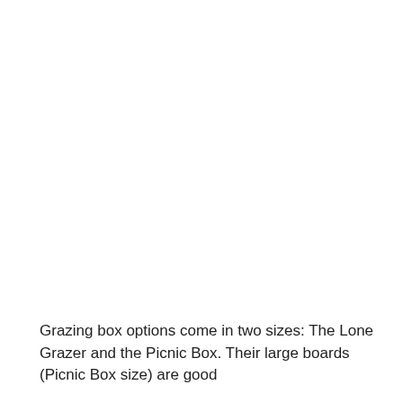Grazing box options come in two sizes: The Lone Grazer and the Picnic Box. Their large boards (Picnic Box size) are good